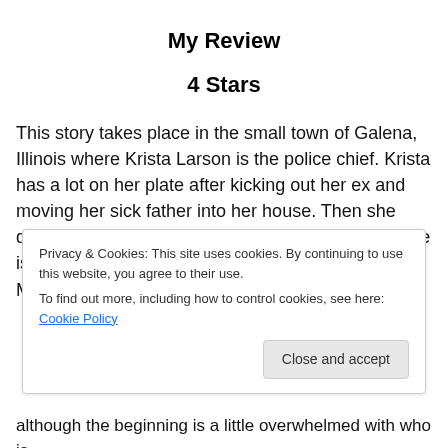My Review
4 Stars
This story takes place in the small town of Galena, Illinois where Krista Larson is the police chief. Krista has a lot on her plate after kicking out her ex and moving her sick father into her house. Then she decides to attend her high school reunion which she is excited to reconnect with Astrid Lund, the “Girl Most Likely to Succeed.” But then
Privacy & Cookies: This site uses cookies. By continuing to use this website, you agree to their use.
To find out more, including how to control cookies, see here: Cookie Policy
although the beginning is a little overwhelmed with who is